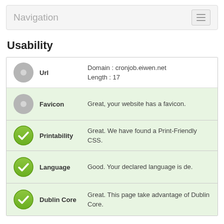Navigation
Usability
| Icon | Label | Description |
| --- | --- | --- |
| (grey circle) | Url | Domain : cronjob.eiwen.net
Length : 17 |
| (grey circle) | Favicon | Great, your website has a favicon. |
| (green check) | Printability | Great. We have found a Print-Friendly CSS. |
| (green check) | Language | Good. Your declared language is de. |
| (green check) | Dublin Core | Great. This page take advantage of Dublin Core. |